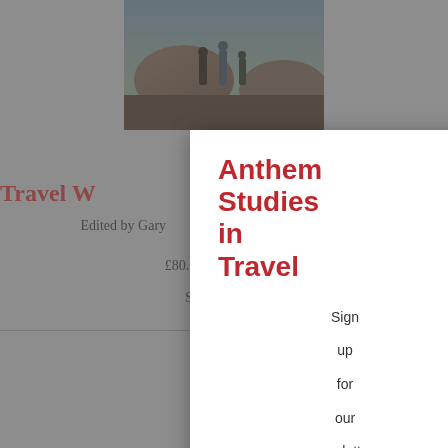[Figure (photo): Book cover image with figures in a rocky landscape, partially visible behind modal]
Travel W… Quarantine
Edited by Gary… M. Randal Owain
£80.00, $125.00 ▶H…
September 20…
Anthem Studies in Travel
Sign up for our newsletters to receive details about the books